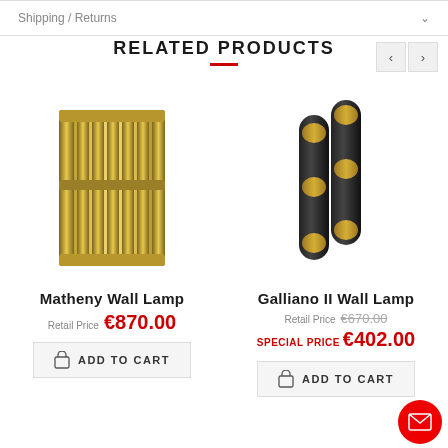Shipping / Returns
RELATED PRODUCTS
[Figure (photo): Matheny Wall Lamp - gold/brass ribbed rectangular wall lamp]
Matheny Wall Lamp
Retail Price €870.00
ADD TO CART
[Figure (photo): Galliano II Wall Lamp - black and gold cylindrical wall lamp]
Galliano II Wall Lamp
Retail Price €670.00
SPECIAL PRICE €402.00
ADD TO CART